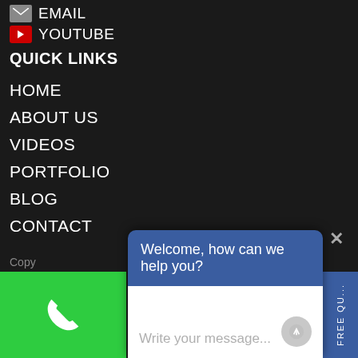EMAIL
YOUTUBE
QUICK LINKS
HOME
ABOUT US
VIDEOS
PORTFOLIO
BLOG
CONTACT
Copy
[Figure (screenshot): Chat widget overlay with blue header saying 'Welcome, how can we help you?' and white message input area with placeholder 'Write your message...' and a send button]
[Figure (screenshot): Green phone button at bottom left with white phone icon]
[Figure (screenshot): Blue vertical strip at bottom right]